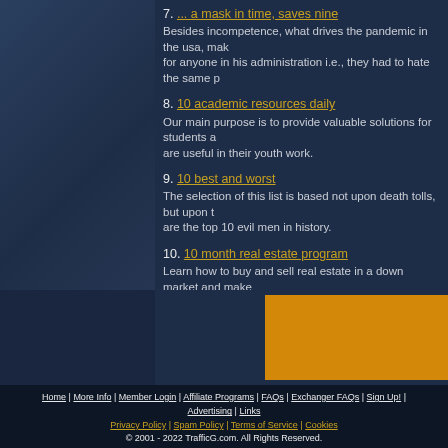7. ... a mask in time, saves nine
Besides incompetence, what drives the pandemic in the usa, makes for anyone in his administration i.e., they had to hate the same pe
8. 10 academic resources daily
Our main purpose is to provide valuable solutions for students a are useful in their youth work.
9. 10 best and worst
The selection of this list is based not upon death tolls, but upon t are the top 10 evil men in history.
10. 10 month real estate program
Learn how to buy and sell real estate in a down market and make
Join
Home | More Info | Member Login | Affiliate Programs | FAQs | Exchanger FAQs | Sign Up! | Advertising | Links
Privacy Policy | Spam Policy | Terms of Service | Cookies
© 2001 - 2022 TrafficG.com. All Rights Reserved.